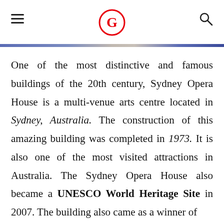G (logo)
One of the most distinctive and famous buildings of the 20th century, Sydney Opera House is a multi-venue arts centre located in Sydney, Australia. The construction of this amazing building was completed in 1973. It is also one of the most visited attractions in Australia. The Sydney Opera House also became a UNESCO World Heritage Site in 2007. The building also came as a winner of